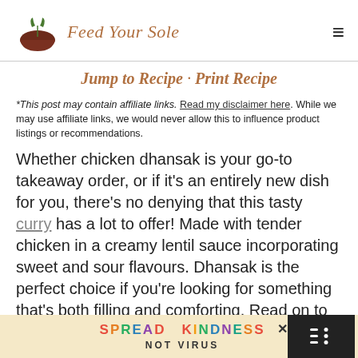Feed Your Sole
Jump to Recipe · Print Recipe
*This post may contain affiliate links. Read my disclaimer here. While we may use affiliate links, we would never allow this to influence product listings or recommendations.
Whether chicken dhansak is your go-to takeaway order, or if it's an entirely new dish for you, there's no denying that this tasty curry has a lot to offer! Made with tender chicken in a creamy lentil sauce incorporating sweet and sour flavours. Dhansak is the perfect choice if you're looking for something that's both filling and comforting. Read on to find out how to make it in your own kite
[Figure (infographic): SPREAD KINDNESS NOT VIRUS advertisement banner with colorful letters and close button]